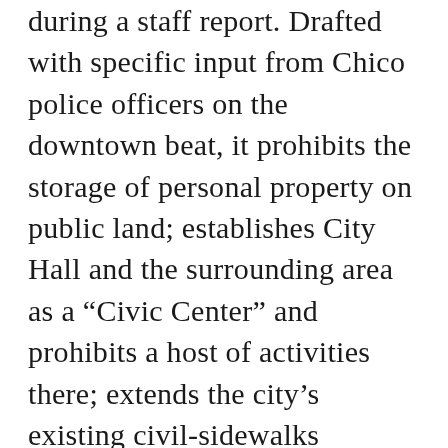during a staff report. Drafted with specific input from Chico police officers on the downtown beat, it prohibits the storage of personal property on public land; establishes City Hall and the surrounding area as a “Civic Center” and prohibits a host of activities there; extends the city’s existing civil-sidewalks ordinance (also known as the sit/lie law) to building entrances; and allows police officers to more easily cite homeless people for camping along Chico’s creeks and tributaries.